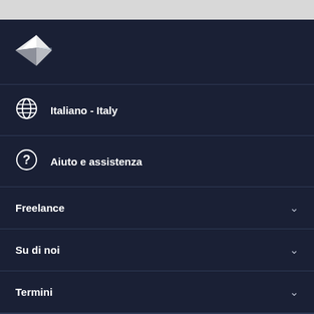[Figure (logo): Toptal/freelance platform logo - white bird/paper plane icon on dark background]
Italiano - Italy
Aiuto e assistenza
Freelance
Su di noi
Termini
[Figure (screenshot): App store buttons: 'Available on the' (Apple App Store) and 'GET IT ON' (Google Play)]